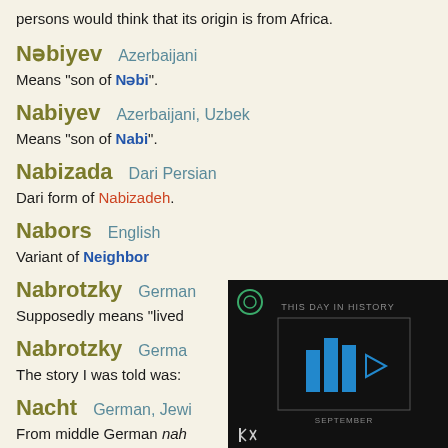persons would think that its origin is from Africa.
Nəbiyev   Azerbaijani
Means "son of Nəbi".
Nabiyev   Azerbaijani, Uzbek
Means "son of Nabi".
Nabizada   Dari Persian
Dari form of Nabizadeh.
Nabors   English
Variant of Neighbor
Nabrotzky   German
Supposedly means "lived...
Nabrotzky   German
The story I was told was:
Nacht   German, Jewish
From middle German nah...
[Figure (screenshot): Video overlay showing 'THIS DAY IN HISTORY' with a play button and blue bar chart graphic, and 'SEPTEMBER' label at the bottom]